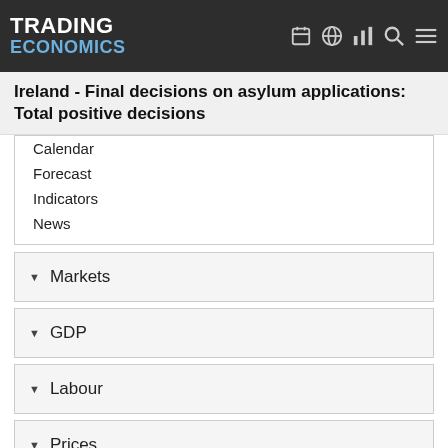TRADING ECONOMICS
Ireland - Final decisions on asylum applications: Total positive decisions
Calendar
Forecast
Indicators
News
Markets
GDP
Labour
Prices
Health